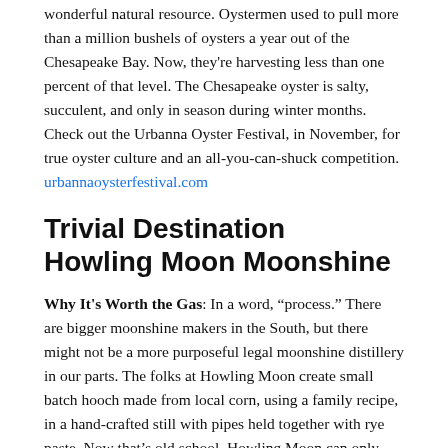wonderful natural resource. Oystermen used to pull more than a million bushels of oysters a year out of the Chesapeake Bay. Now, they’re harvesting less than one percent of that level. The Chesapeake oyster is salty, succulent, and only in season during winter months. Check out the Urbanna Oyster Festival, in November, for true oyster culture and an all-you-can-shuck competition. urbannaoysterfestival.com
Trivial Destination
Howling Moon Moonshine
Why It’s Worth the Gas: In a word, “process.” There are bigger moonshine makers in the South, but there might not be a more purposeful legal moonshine distillery in our parts. The folks at Howling Moon create small batch hooch made from local corn, using a family recipe, in a hand-crafted still with pipes held together with rye paste. Now that’s old school. Howling Moon can only produce 80 cases a month, and you can only find it in a dozen places in Western North Carolina. howlingmoonshine.com